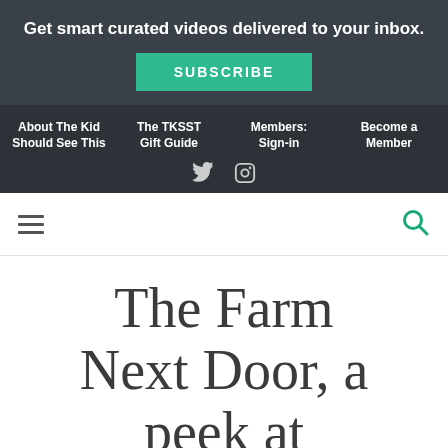Get smart curated videos delivered to your inbox.
SUBSCRIBE
About The Kid Should See This | The TKSST Gift Guide | Members: Sign-in | Become a Member
The Farm Next Door, a peek at